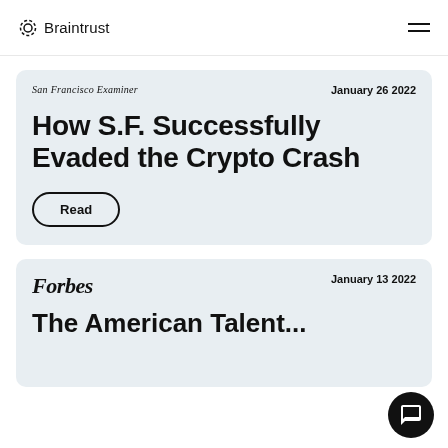Braintrust
San Francisco Examiner — January 26 2022
How S.F. Successfully Evaded the Crypto Crash
Read
Forbes — January 13 2022
The American Talent...